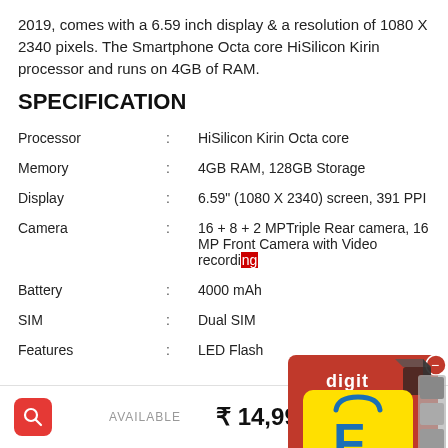2019, comes with a 6.59 inch display & a resolution of 1080 X 2340 pixels. The Smartphone Octa core HiSilicon Kirin processor and runs on 4GB of RAM.
SPECIFICATION
|  |  |  |
| --- | --- | --- |
| Processor | : | HiSilicon Kirin Octa core |
| Memory | : | 4GB RAM, 128GB Storage |
| Display | : | 6.59" (1080 X 2340) screen, 391 PPI |
| Camera | : | 16 + 8 + 2 MPTriple Rear camera, 16 MP Front Camera with Video recording |
| Battery | : | 4000 mAh |
| SIM | : | Dual SIM |
| Features | : | LED Flash |
[Figure (logo): Digit and Flipkart promotional overlay image in bottom-right corner]
AVAILABLE   ₹ 14,999   BUY NOW